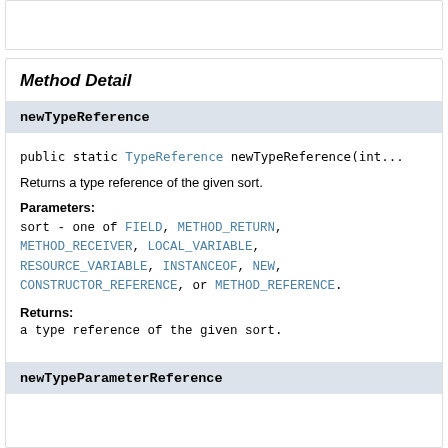Method Detail
newTypeReference
public static TypeReference newTypeReference(int...
Returns a type reference of the given sort.
Parameters:
sort - one of FIELD, METHOD_RETURN, METHOD_RECEIVER, LOCAL_VARIABLE, RESOURCE_VARIABLE, INSTANCEOF, NEW, CONSTRUCTOR_REFERENCE, or METHOD_REFERENCE.
Returns:
a type reference of the given sort.
newTypeParameterReference